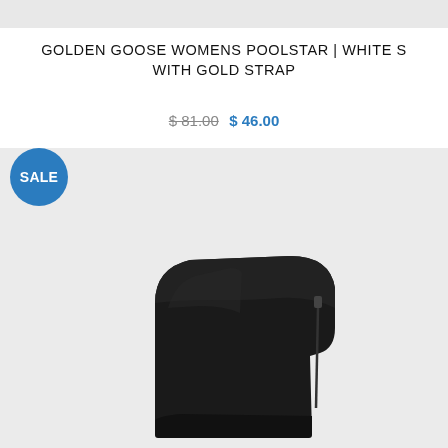[Figure (photo): Top partial image strip of a product, light gray background]
GOLDEN GOOSE WOMENS POOLSTAR | WHITE S WITH GOLD STRAP
$ 81.00  $ 46.00
[Figure (photo): Black ankle boot with zipper on a light gray background, with a blue SALE badge in the top-left corner]